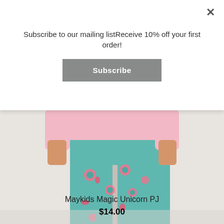Subscribe to our mailing listReceive 10% off your first order!
Subscribe
[Figure (photo): Child wearing teal patterned pajama pants with colorful unicorn/heart print and pink long-sleeve top, photographed from waist down]
Maykids Magic Unicorn PJ
$14.00
[Figure (photo): Child or person in outdoor garden setting with green foliage background, photographed from above the shoulders]